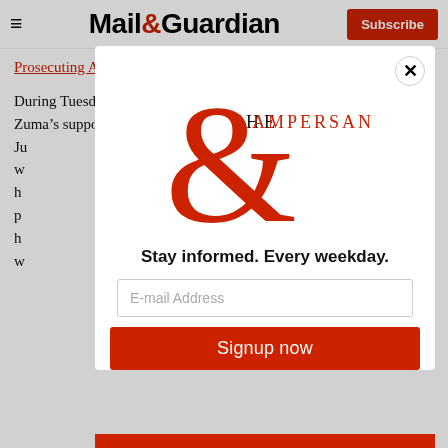Mail&Guardian — Subscribe
Prosecuting Authority (NPA).
During Tuesday's hearing, which was attended by a number of Zuma's supporters and family members, Ju... w... h... p... h... w...
[Figure (logo): The Ampersand newsletter logo — large red ampersand with 'THE AMPERSAND' text]
Stay informed. Every weekday.
E-mail Address
Signup now